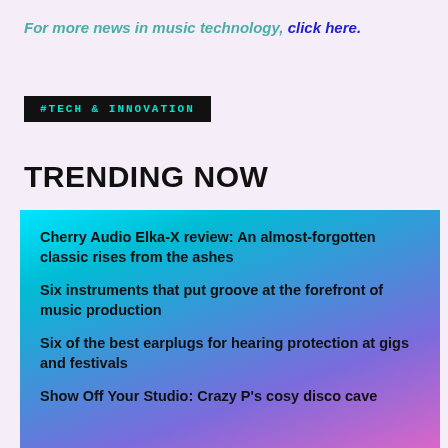For more news in music technology, click here.
#TECH & INNOVATION
TRENDING NOW
Cherry Audio Elka-X review: An almost-forgotten classic rises from the ashes
Six instruments that put groove at the forefront of music production
Six of the best earplugs for hearing protection at gigs and festivals
Show Off Your Studio: Crazy P's cosy disco cave